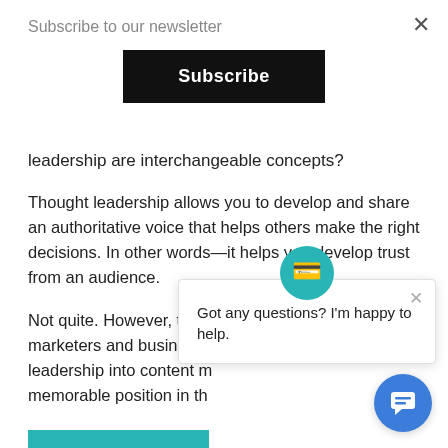Subscribe to our newsletter
[Figure (screenshot): Subscribe button - black rectangular button with white bold text reading 'Subscribe']
leadership are interchangeable concepts?
Thought leadership allows you to develop and share an authoritative voice that helps others make the right decisions. In other words—it helps you develop trust from an audience.
Not quite. However, they feed into each other. Smart marketers and business leaders leverage thought leadership into content m... memorable position in th...
[Figure (screenshot): READ MORE button - teal/turquoise rectangular button with white uppercase text]
Posted in Best Practices, Content Curation
[Figure (screenshot): Chat popup with icon and text: Got any questions? I'm happy to help.]
[Figure (screenshot): Blue circular chat bubble button in bottom right corner]